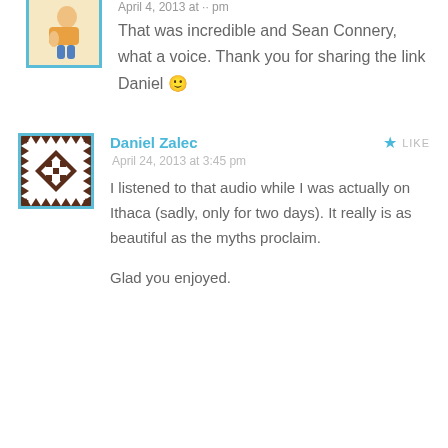[Figure (illustration): Avatar illustration of a cartoon person sitting, with blue border, partially visible at top]
That was incredible and Sean Connery, what a voice. Thank you for sharing the link Daniel 🙂
[Figure (illustration): Avatar image with geometric quilt/tile pattern in dark brown and white with blue border]
Daniel Zalec
LIKE
April 24, 2013 at 3:45 pm
I listened to that audio while I was actually on Ithaca (sadly, only for two days). It really is as beautiful as the myths proclaim.
Glad you enjoyed.